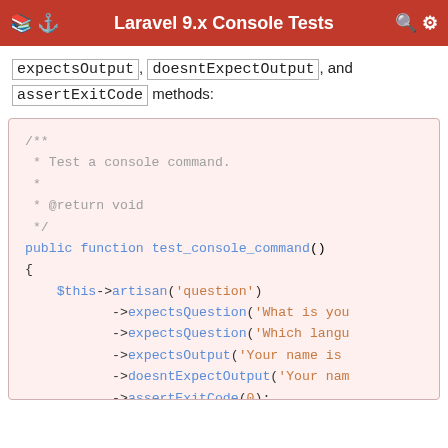Laravel 9.x Console Tests
expectsOutput, doesntExpectOutput, and assertExitCode methods:
[Figure (screenshot): PHP code block showing a test_console_command function using artisan with expectsQuestion, expectsOutput, doesntExpectOutput, and assertExitCode chained methods on a code background]